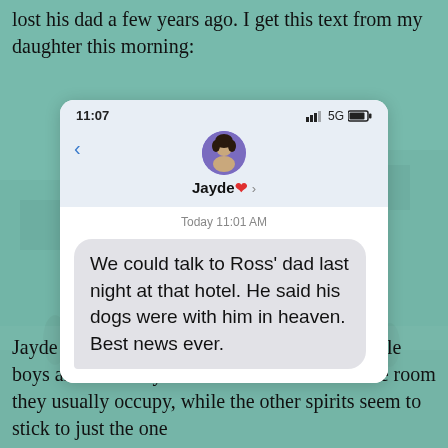lost his dad a few years ago. I get this text from my daughter this morning:
[Figure (screenshot): Screenshot of an iPhone text message conversation. Status bar shows 11:07, 5G signal. Contact name is 'Jayde❤️'. Message timestamp: Today 11:01 AM. Message bubble reads: 'We could talk to Ross' dad last night at that hotel. He said his dogs were with him in heaven. Best news ever.']
Jayde and Ross talk about the spirits of two little boys and how they seem to be able to leave the room they usually occupy, while the other spirits seem to stick to just the one